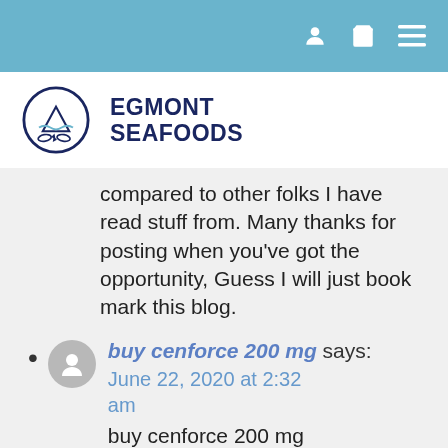Navigation bar with user, cart, and menu icons
[Figure (logo): Egmont Seafoods logo: circular emblem with fish and waves, text EGMONT SEAFOODS in dark navy bold]
compared to other folks I have read stuff from. Many thanks for posting when you've got the opportunity, Guess I will just book mark this blog.
buy cenforce 200 mg says: June 22, 2020 at 2:32 am buy cenforce 200 mg